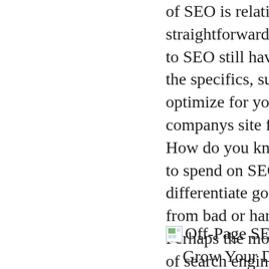of SEO is relatively straightforward, many newcomers to SEO still have questions about the specifics, such as.: How do you optimize for your site or your companys site for search engines? How do you know how much time to spend on SEO? How can you differentiate good SEO advice from bad or harmful SEO advice? Perhaps the most important aspect of search engine optimization is how you can actually leverage SEO to help drive more relevant traffic, leads, and sales for your business.
Off-Page SEO Services Let's Grow Your Domain Authority Together. Free SEO Tools. DIY Pricing To Request A Custom Quote. Search Engine Marketing. Paid Search Ads Management. Search Engine Optimization SEO. On-Page